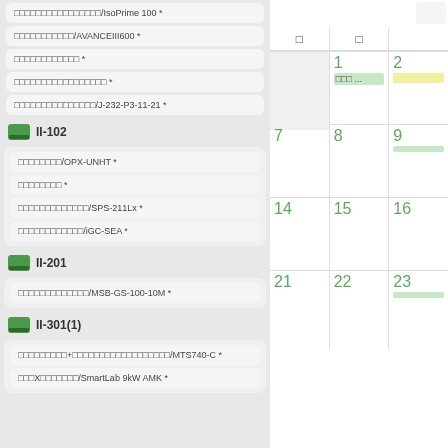□□□□□□□□□□□□□□□□/IsoPrime 100 *
□□□□□□□□□□□/AVANCEIII600 *
□□□□□□□□□□□□ *
□□□□□□□□□□□□□□□□□ *
□□□□□□□□□□□□□□□/J-232-P3-11-21 *
II-102
□□□□□□□□/OPX-UNHT *
□□□□□□□□ *
□□□□□□□□□□□□□/SPS-211Lx *
□□□□□□□□□□□□/iGC-SEA *
II-201
□□□□□□□□□□□□□/MSB-GS-100-10M *
II-301(1)
□□□□□□□□□+□□□□□□□□□□□□□□□□□□/MTS740-C *
□□□X□□□□□□□/SmartLab 9kW AMK *
| □ | □ |  |
| --- | --- | --- |
|  | 1 | 2 |
|  | □□□ ... |  |
| 7 | 8 | 9 |
|  |  |  |
| 14 | 15 | 16 |
|  |  |  |
| 21 | 22 | 23 |
|  |  |  |